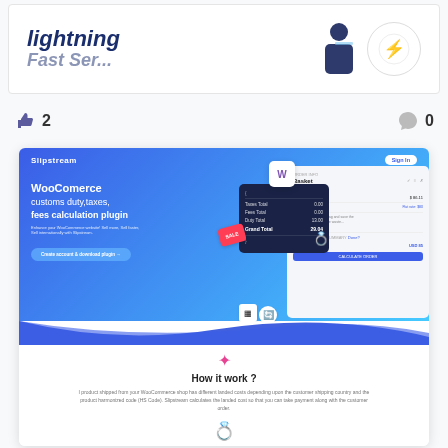[Figure (screenshot): Top banner showing 'lightning' text in dark blue bold italic, a person silhouette illustration, and a yellow lightning bolt icon in a circle]
👍 2    💬 0
[Figure (screenshot): Screenshot of Slipstream WooCommerce plugin website showing hero section with blue gradient background, navigation with Products, About, Pricing, Blog links and Sign In button. Hero text: WooCommerce customs duty, taxes, fees calculation plugin. Shows a dark card with Taxes Total, Fees Total, Duty Total, Grand Total rows. Right panel shows Basket details. Below is How it work? section with description text.]
How it work ?
I product shipped from your WooCommerce shop has different landed costs depending upon the customer shipping country and the product harmonized code (HS Code). Slipstream calculates the landed cost so that you can take payment along with the customer order.